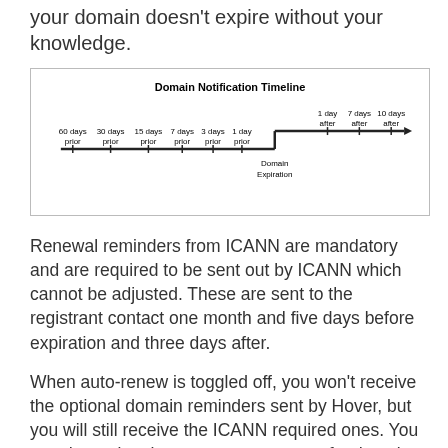your domain doesn't expire without your knowledge.
[Figure (infographic): Domain Notification Timeline showing a horizontal timeline with markers at 60 days prior, 30 days prior, 15 days prior, 7 days prior, 3 days prior, 1 day prior, Domain Expiration (step up), 1 day after, 7 days after, 10 days after, with an arrow pointing right.]
Renewal reminders from ICANN are mandatory and are required to be sent out by ICANN which cannot be adjusted. These are sent to the registrant contact one month and five days before expiration and three days after.
When auto-renew is toggled off, you won't receive the optional domain reminders sent by Hover, but you will still receive the ICANN required ones. You can determine the auto-renew status of a domain from your Hover